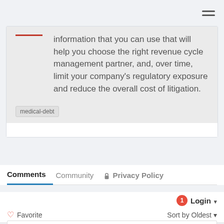information that you can use that will help you choose the right revenue cycle management partner, and, over time, limit your company's regulatory exposure and reduce the overall cost of litigation.
medical-debt
Comments   Community   Privacy Policy
Login ▾
Favorite   Sort by Oldest ▾